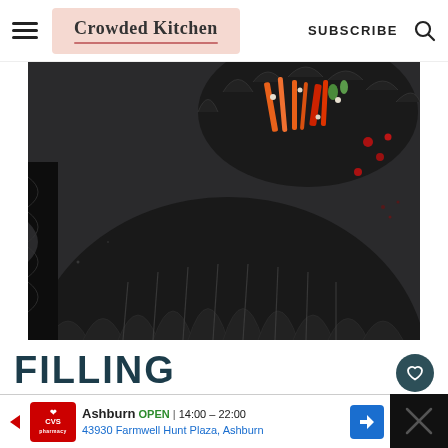Crowded Kitchen | SUBSCRIBE
[Figure (photo): Close-up of dark/black crimped pastry pies on a dark slate background, with one pie open showing colorful vegetable filling including orange carrots and red pomegranate seeds]
FILLING INGREDIENTS
[Figure (other): CVS Pharmacy advertisement banner: Ashburn OPEN 14:00-22:00, 43930 Farmwell Hunt Plaza, Ashburn]